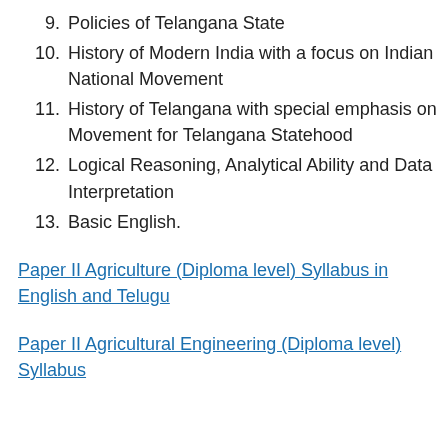9. Policies of Telangana State
10. History of Modern India with a focus on Indian National Movement
11. History of Telangana with special emphasis on Movement for Telangana Statehood
12. Logical Reasoning, Analytical Ability and Data Interpretation
13. Basic English.
Paper II Agriculture (Diploma level) Syllabus in English and Telugu
Paper II Agricultural Engineering (Diploma level) Syllabus